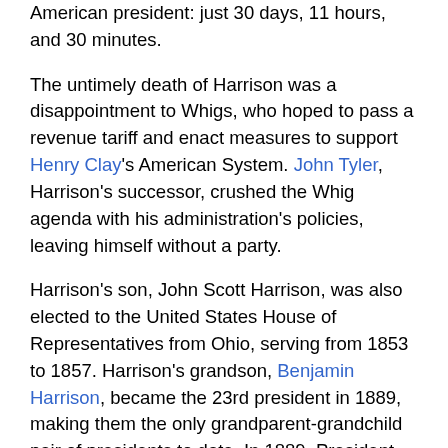American president: just 30 days, 11 hours, and 30 minutes.
The untimely death of Harrison was a disappointment to Whigs, who hoped to pass a revenue tariff and enact measures to support Henry Clay's American System. John Tyler, Harrison's successor, crushed the Whig agenda with his administration's policies, leaving himself without a party.
Harrison's son, John Scott Harrison, was also elected to the United States House of Representatives from Ohio, serving from 1853 to 1857. Harrison's grandson, Benjamin Harrison, became the 23rd president in 1889, making them the only grandparent-grandchild pair of presidents to date. In 1889, President Benjamin Harrison gave his inaugural address in the rain. Understanding his grandfather's mistakes, he asked his outgoing predecessor and later his successor, Grover Cleveland, to hold an umbrella above